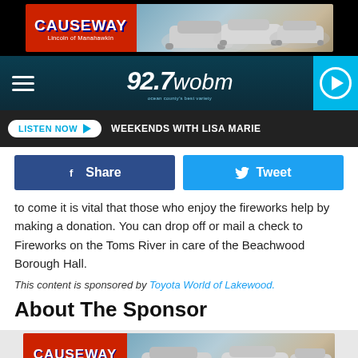[Figure (photo): Top banner advertisement for Causeway Lincoln of Manahawkin showing logo and luxury vehicles]
[Figure (logo): 92.7 WOBM radio station navigation bar with hamburger menu and play button]
LISTEN NOW  WEEKENDS WITH LISA MARIE
[Figure (infographic): Facebook Share and Twitter Tweet social share buttons]
to come it is vital that those who enjoy the fireworks help by making a donation.  You can drop off or mail a check to Fireworks on the Toms River in care of the Beachwood Borough Hall.
This content is sponsored by Toyota World of Lakewood.
About The Sponsor
[Figure (photo): Bottom banner advertisement for Causeway Lincoln of Manahawkin]